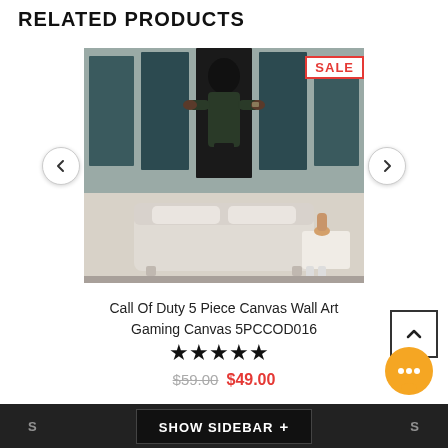RELATED PRODUCTS
[Figure (photo): Call of Duty 5 piece canvas wall art product photo showing a soldier figure on 5 panels above a white sofa room mockup, with a SALE badge in top right corner and left/right navigation arrows]
Call Of Duty 5 Piece Canvas Wall Art Gaming Canvas 5PCCOD016
[Figure (other): 5 filled star rating icons]
$59.00  $49.00
S  SHOW SIDEBAR +  S